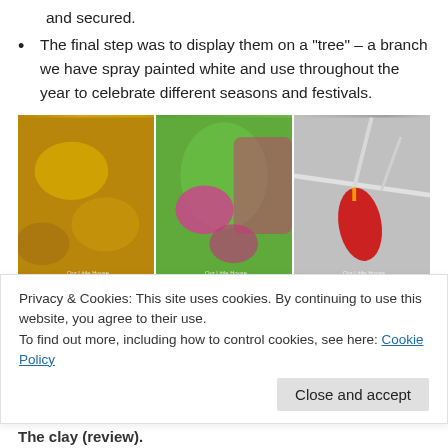and secured.
The final step was to display them on a “tree” – a branch we have spray painted white and use throughout the year to celebrate different seasons and festivals.
[Figure (photo): Three side-by-side photos showing glitter craft ornaments: left photo shows gold glitter heart/leaf shapes on a surface, middle photo shows pink glitter on a green surface with pink/red balloon in background, right photo shows red glitter ornament hanging on a white painted branch. Each photo has 'Our Little House in the Country' watermark.]
Privacy & Cookies: This site uses cookies. By continuing to use this website, you agree to their use.
To find out more, including how to control cookies, see here: Cookie Policy
The clay (review).